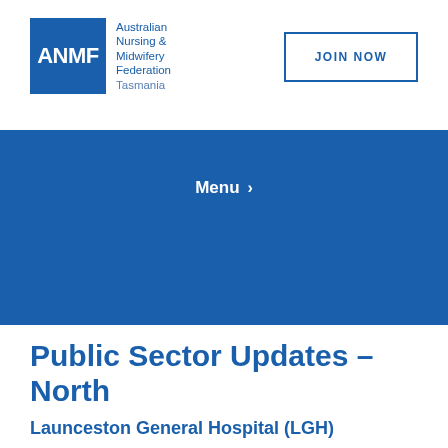[Figure (logo): ANMF logo: blue square with ANMF text in white, alongside text 'Australian Nursing & Midwifery Federation Tasmania' in blue]
JOIN NOW
Menu >
Public Sector Updates – North
Launceston General Hospital (LGH)